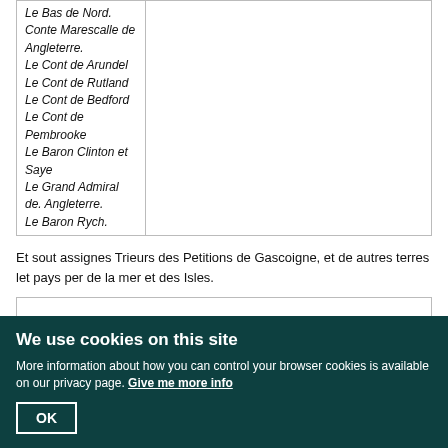| Le Bas de Nord. Conte Marescalle de Angleterre. Le Cont de Arundel Le Cont de Rutland Le Cont de Bedford Le Cont de Pembrooke Le Baron Clinton et Saye Le Grand Admiral de. Angleterre. Le Baron Rych. |  |
Et sout assignes Trieurs des Petitions de Gascoigne, et de autres terres let pays per de la mer et des Isles.
| Le Marcvies de... | Toute eux ensembles, ou quatre des Prelats et... |
We use cookies on this site
More information about how you can control your browser cookies is available on our privacy page. Give me more info
OK